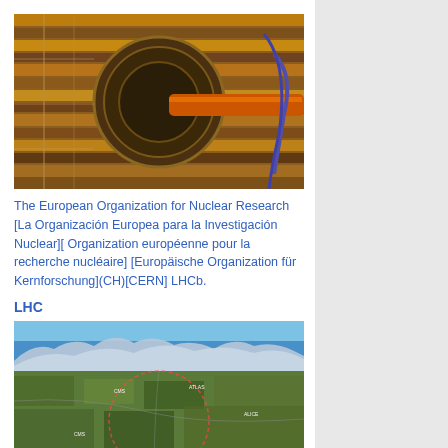[Figure (photo): Interior of a large particle detector at CERN, showing layered golden/brown coils, cables, and circular endcap structure with orange beam pipe]
The European Organization for Nuclear Research [La Organización Europea para la Investigación Nuclear][ Organization européenne pour la recherche nucléaire] [Europäische Organization für Kernforschung](CH)[CERN] LHCb.
LHC
[Figure (photo): Aerial photograph of the CERN LHC region near Geneva, showing the circular accelerator tunnel overlaid on the landscape with Alps in background and location markers including ALICE]